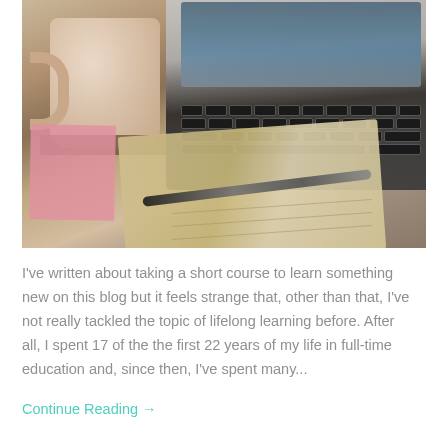[Figure (photo): Photo of a laptop keyboard, a coffee mug on a wooden coaster, an open notebook with handwriting, a pen, and a pink sticky note on a wooden desk surface.]
I've written about taking a short course to learn something new on this blog but it feels strange that, other than that, I've not really tackled the topic of lifelong learning before. After all, I spent 17 of the the first 22 years of my life in full-time education and, since then, I've spent many...
Continue Reading →